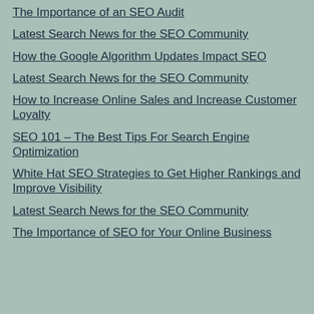The Importance of an SEO Audit
Latest Search News for the SEO Community
How the Google Algorithm Updates Impact SEO
Latest Search News for the SEO Community
How to Increase Online Sales and Increase Customer Loyalty
SEO 101 – The Best Tips For Search Engine Optimization
White Hat SEO Strategies to Get Higher Rankings and Improve Visibility
Latest Search News for the SEO Community
The Importance of SEO for Your Online Business